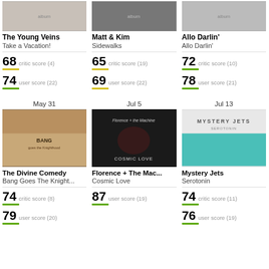[Figure (photo): Album cover for The Young Veins - Take a Vacation!]
The Young Veins
Take a Vacation!
68 critic score (4)
74 user score (22)
[Figure (photo): Album cover for Matt & Kim - Sidewalks]
Matt & Kim
Sidewalks
65 critic score (19)
69 user score (22)
[Figure (photo): Album cover for Allo Darlin' - Allo Darlin']
Allo Darlin'
Allo Darlin'
72 critic score (10)
78 user score (21)
May 31
[Figure (photo): Album cover for The Divine Comedy - Bang Goes The Knighthood]
The Divine Comedy
Bang Goes The Knight...
74 critic score (8)
79 user score (20)
Jul 5
[Figure (photo): Album cover for Florence + The Machine - Cosmic Love]
Florence + The Mac...
Cosmic Love
87 user score (19)
Jul 13
[Figure (photo): Album cover for Mystery Jets - Serotonin]
Mystery Jets
Serotonin
74 critic score (11)
76 user score (19)